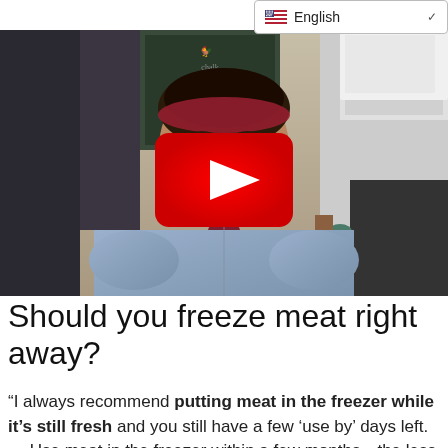[Figure (screenshot): Language selector dropdown showing US flag icon and 'English' text with a chevron/dropdown arrow, positioned in top right corner]
[Figure (photo): YouTube video thumbnail showing a woman with curly hair wearing a red headband and blue denim shirt, standing in a kitchen. A large red YouTube play button is centered over the image.]
Should you freeze meat right away?
“I always recommend putting meat in the freezer while it’s still fresh and you still have a few ‘use by’ days left. ... Use meat in the freezer within a few months—the less time it’s frozen, the better it will retain its